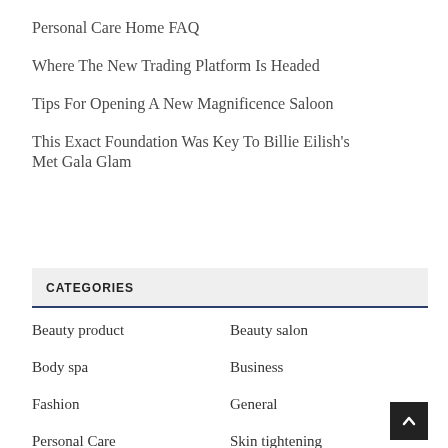Personal Care Home FAQ
Where The New Trading Platform Is Headed
Tips For Opening A New Magnificence Saloon
This Exact Foundation Was Key To Billie Eilish's Met Gala Glam
CATEGORIES
Beauty product
Beauty salon
Body spa
Business
Fashion
General
Personal Care
Skin tightening